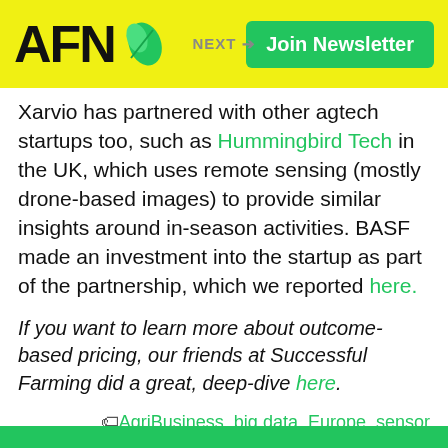AFN | NEXT → | Join Newsletter
Xarvio has partnered with other agtech startups too, such as Hummingbird Tech in the UK, which uses remote sensing (mostly drone-based images) to provide similar insights around in-season activities. BASF made an investment into the startup as part of the partnership, which we reported here.
If you want to learn more about outcome-based pricing, our friends at Successful Farming did a great, deep-dive here.
🏷 AgriBusiness, big data, Europe, sensor